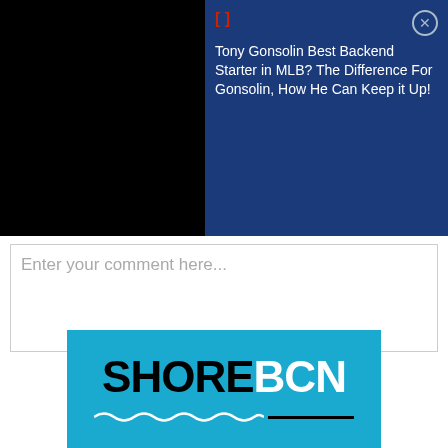[Figure (screenshot): Ad overlay banner on a dark video background. Left side is black (video area). Right side is a dark blue rectangle with a red bracket icon '[' then close bracket ']' in red, followed by white text: 'Tony Gonsolin Best Backend Starter in MLB? The Difference For Gonsolin, How He Can Keep it Up!' with an X close button in the top-right corner.]
Enter your comment here...
[Figure (logo): ShoreBCN logo on a teal/cyan background. 'SHORE' in large black bold text, 'BCN' in large white bold text. Below is a white wavy underline and a black horizontal line.]